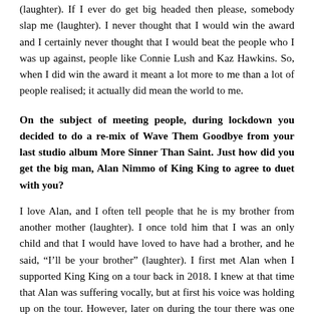(laughter). If I ever do get big headed then please, somebody slap me (laughter). I never thought that I would win the award and I certainly never thought that I would beat the people who I was up against, people like Connie Lush and Kaz Hawkins. So, when I did win the award it meant a lot more to me than a lot of people realised; it actually did mean the world to me.
On the subject of meeting people, during lockdown you decided to do a re-mix of Wave Them Goodbye from your last studio album More Sinner Than Saint. Just how did you get the big man, Alan Nimmo of King King to agree to duet with you?
I love Alan, and I often tell people that he is my brother from another mother (laughter). I once told him that I was an only child and that I would have loved to have had a brother, and he said, “I’ll be your brother” (laughter). I first met Alan when I supported King King on a tour back in 2018. I knew at that time that Alan was suffering vocally, but at first his voice was holding up on the tour. However, later on during the tour there was one gig in Tavistock when Alan had to leave the stage after four songs because his voice had given out. At that point I had literally got my coat on ready to go when Alan came up to me and said, “get yourself up